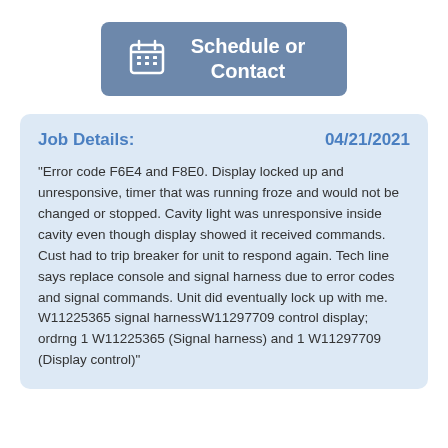[Figure (other): Blue rounded rectangle button with calendar icon and text 'Schedule or Contact']
Job Details: 04/21/2021
"Error code F6E4 and F8E0. Display locked up and unresponsive, timer that was running froze and would not be changed or stopped. Cavity light was unresponsive inside cavity even though display showed it received commands. Cust had to trip breaker for unit to respond again. Tech line says replace console and signal harness due to error codes and signal commands. Unit did eventually lock up with me. W11225365 signal harnessW11297709 control display; ordrng 1 W11225365 (Signal harness) and 1 W11297709 (Display control)"